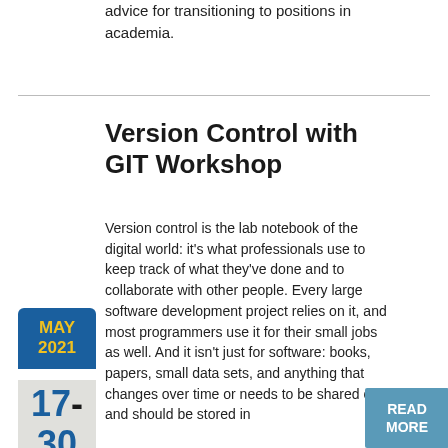advice for transitioning to positions in academia.
Version Control with GIT Workshop
Version control is the lab notebook of the digital world: it's what professionals use to keep track of what they've done and to collaborate with other people. Every large software development project relies on it, and most programmers use it for their small jobs as well. And it isn't just for software: books, papers, small data sets, and anything that changes over time or needs to be shared can and should be stored in
MAY 2021
17-
30
READ MORE